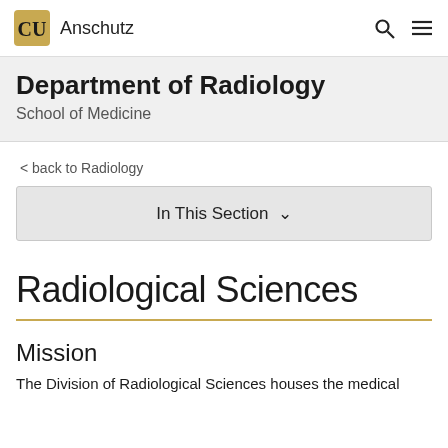CU Anschutz — Department of Radiology, School of Medicine
Department of Radiology
School of Medicine
< back to Radiology
In This Section
Radiological Sciences
Mission
The Division of Radiological Sciences houses the medical